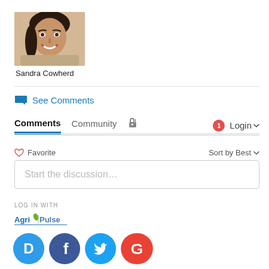[Figure (photo): Profile photo of Sandra Cowherd, a woman with dark hair smiling, on a light background]
Sandra Cowherd
See Comments
Comments   Community   [lock icon]   [1 notification]   Login
♡ Favorite   Sort by Best
Start the discussion...
LOG IN WITH
[Figure (logo): Agri Pulse logo]
[Figure (logo): Social login icons: Disqus (D), Facebook (f), Twitter bird, Google (G)]